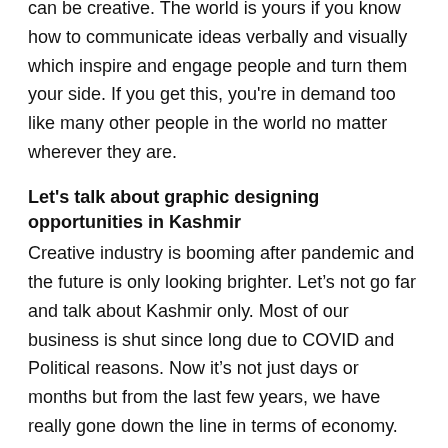can be creative. The world is yours if you know how to communicate ideas verbally and visually which inspire and engage people and turn them your side. If you get this, you're in demand too like many other people in the world no matter wherever they are.
Let's talk about graphic designing opportunities in Kashmir
Creative industry is booming after pandemic and the future is only looking brighter. Let's not go far and talk about Kashmir only. Most of our business is shut since long due to COVID and Political reasons. Now it's not just days or months but from the last few years, we have really gone down the line in terms of economy.
We are now bound to go digital whether it's our Kashmiri Carpets, Handicrafts, Saffron or Pashmina. We don't have tourists to visit our showrooms and